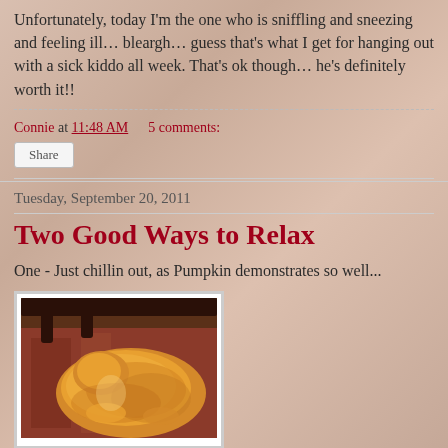Unfortunately, today I'm the one who is sniffling and sneezing and feeling ill… bleargh… guess that's what I get for hanging out with a sick kiddo all week. That's ok though… he's definitely worth it!!
Connie at 11:48 AM    5 comments:
Share
Tuesday, September 20, 2011
Two Good Ways to Relax
One - Just chillin out, as Pumpkin demonstrates so well...
[Figure (photo): Photo of an orange tabby cat (Pumpkin) curled up and sleeping in a basket or chair with decorative fabric visible in the background.]